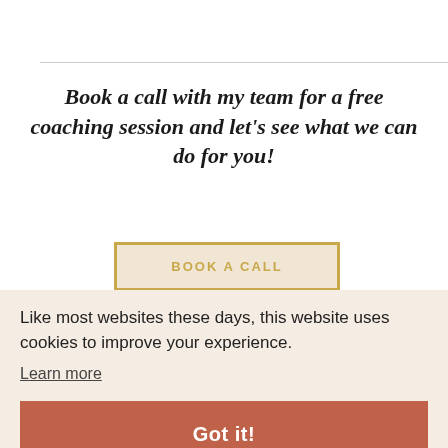Book a call with my team for a free coaching session and let’s see what we can do for you!
[Figure (other): Golden-bordered button with text BOOK A CALL on a beige background]
Like most websites these days, this website uses cookies to improve your experience.
Learn more
Got it!